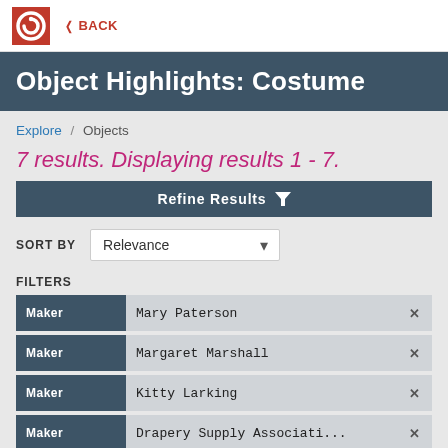BACK
Object Highlights: Costume
Explore / Objects
7 results. Displaying results 1 - 7.
Refine Results
SORT BY  Relevance
FILTERS
Maker  Mary Paterson
Maker  Margaret Marshall
Maker  Kitty Larking
Maker  Drapery Supply Associati...